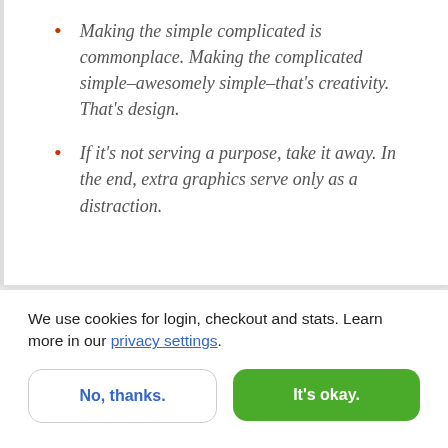Making the simple complicated is commonplace. Making the complicated simple–awesomely simple–that's creativity. That's design.
If it's not serving a purpose, take it away. In the end, extra graphics serve only as a distraction.
We use cookies for login, checkout and stats. Learn more in our privacy settings.